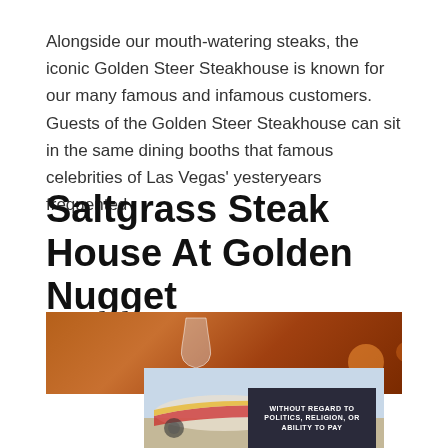Alongside our mouth-watering steaks, the iconic Golden Steer Steakhouse is known for our many famous and infamous customers. Guests of the Golden Steer Steakhouse can sit in the same dining booths that famous celebrities of Las Vegas' yesteryears frequented
Saltgrass Steak House At Golden Nugget
[Figure (photo): Restaurant interior photo with warm amber/brown tones showing wine glasses]
[Figure (photo): Airplane on tarmac being loaded with cargo, Southwest Airlines livery visible]
[Figure (other): Advertisement with text WITHOUT REGARD TO on dark background]